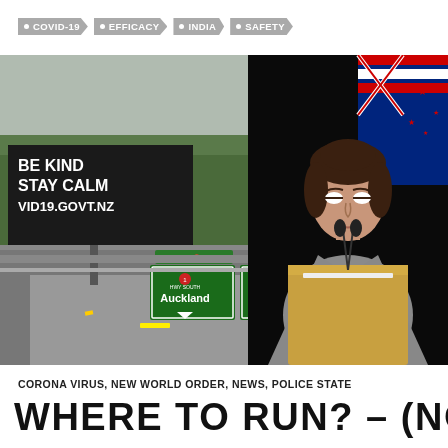COVID-19  EFFICACY  INDIA  SAFETY
[Figure (photo): Composite image: Left side shows New Zealand highway with a billboard reading 'BE KIND STAY CALM VID19.GOVT.NZ' and motorway signs for Browns Bay, Auckland and Whangarei. Right side shows a woman (likely New Zealand Prime Minister Jacinda Ardern) speaking at a podium with a New Zealand flag in the background.]
CORONA VIRUS, NEW WORLD ORDER, NEWS, POLICE STATE
WHERE TO RUN? – (NOT NZ